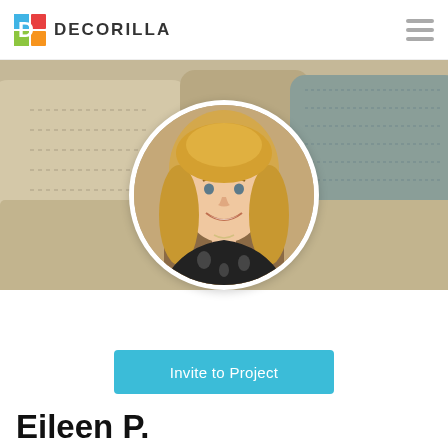[Figure (logo): Decorilla logo with colorful D icon and bold text DECORILLA]
[Figure (photo): Background photo of beige couch with pillows in muted tones]
[Figure (photo): Circular profile photo of a smiling blonde woman in a black floral top]
Invite to Project
Eileen P.